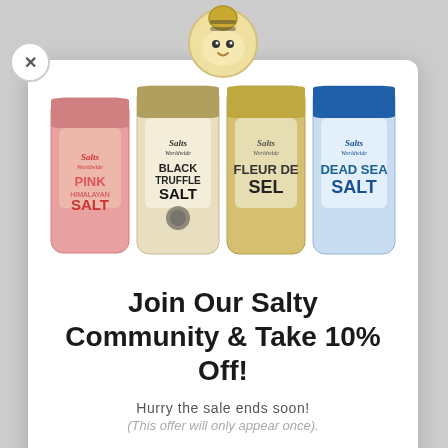[Figure (photo): Four salt product bags from Salts Worldwide: Pink Himalayan Salt (pink bag), Black Truffle Salt (cream/gold bag), Fleur de Sel (gold bag), Dead Sea Salt (blue/white bag)]
Join Our Salty Community & Take 10% Off!
Hurry the sale ends soon!
(This offer will only appear once).